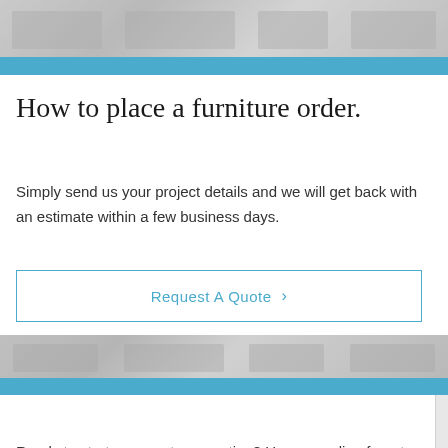[Figure (photo): Blurred/obscured image of furniture showroom at top of page]
Get a quote from your furniture ideas.
Simply send us your project details and we will get back with an estimate within a few business days.
Request A Quote >
[Figure (photo): Blurred/obscured image of furniture showroom in middle of page]
How to place a furniture order.
Ready to start your custom creation? Use our online form to start your project.